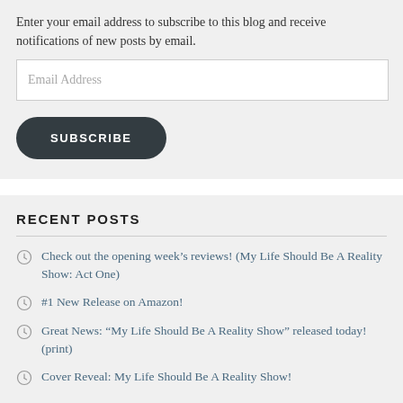Enter your email address to subscribe to this blog and receive notifications of new posts by email.
Email Address
SUBSCRIBE
RECENT POSTS
Check out the opening week's reviews! (My Life Should Be A Reality Show: Act One)
#1 New Release on Amazon!
Great News: “My Life Should Be A Reality Show” released today! (print)
Cover Reveal: My Life Should Be A Reality Show!